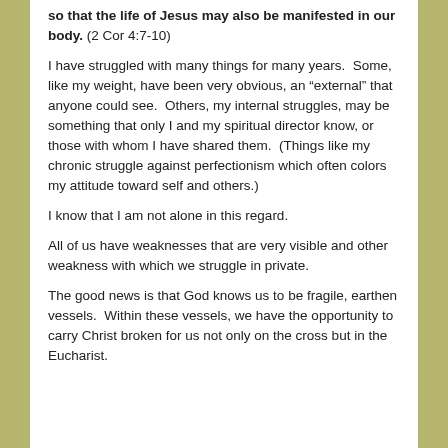so that the life of Jesus may also be manifested in our body. (2 Cor 4:7-10)
I have struggled with many things for many years. Some, like my weight, have been very obvious, an “external” that anyone could see. Others, my internal struggles, may be something that only I and my spiritual director know, or those with whom I have shared them. (Things like my chronic struggle against perfectionism which often colors my attitude toward self and others.)
I know that I am not alone in this regard.
All of us have weaknesses that are very visible and other weakness with which we struggle in private.
The good news is that God knows us to be fragile, earthen vessels. Within these vessels, we have the opportunity to carry Christ broken for us not only on the cross but in the Eucharist.